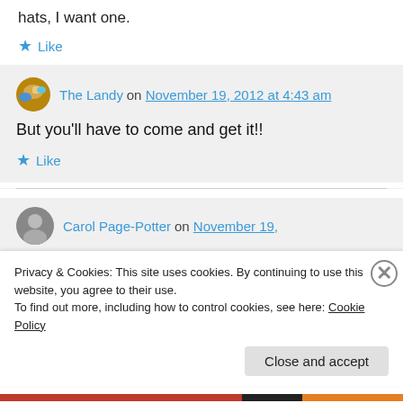hats, I want one.
★ Like
The Landy on November 19, 2012 at 4:43 am
But you'll have to come and get it!!
★ Like
Carol Page-Potter on November 19,
Privacy & Cookies: This site uses cookies. By continuing to use this website, you agree to their use.
To find out more, including how to control cookies, see here: Cookie Policy
Close and accept